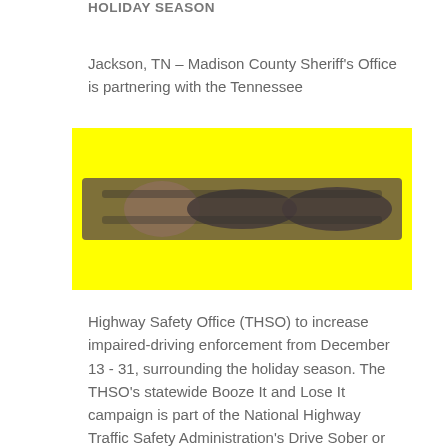HOLIDAY SEASON
Jackson, TN – Madison County Sheriff's Office is partnering with the Tennessee
[Figure (photo): Blurred promotional image with bright yellow background, appears to show a DUI/impaired driving enforcement campaign graphic with dark text overlay]
Highway Safety Office (THSO) to increase impaired-driving enforcement from December 13 - 31, surrounding the holiday season. The THSO's statewide Booze It and Lose It campaign is part of the National Highway Traffic Safety Administration's Drive Sober or Get